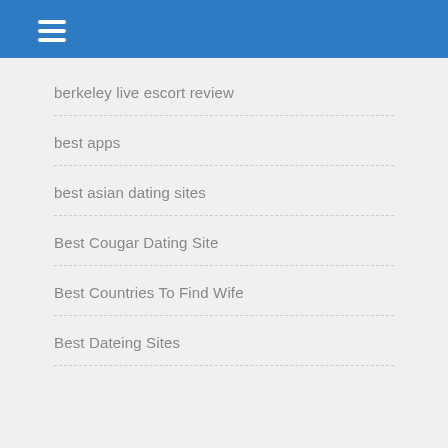berkeley live escort review
best apps
best asian dating sites
Best Cougar Dating Site
Best Countries To Find Wife
Best Dateing Sites